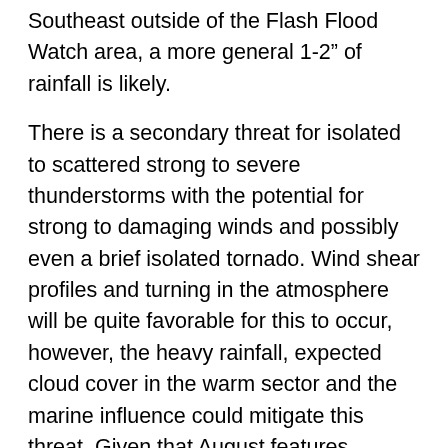Southeast outside of the Flash Flood Watch area, a more general 1-2" of rainfall is likely.
There is a secondary threat for isolated to scattered strong to severe thunderstorms with the potential for strong to damaging winds and possibly even a brief isolated tornado. Wind shear profiles and turning in the atmosphere will be quite favorable for this to occur, however, the heavy rainfall, expected cloud cover in the warm sector and the marine influence could mitigate this threat. Given that August features warmer sea surface temperatures and the fact that jet dynamics will be favorable, the key to any severe weather potential during Wednesday will be any instability or destabilization that can occur during the day either through any breaks in the cloudiness or from the very high moisture laden air that will be over the region and any embedded thunderstorms that can tap into the dynamics as well as the position of the